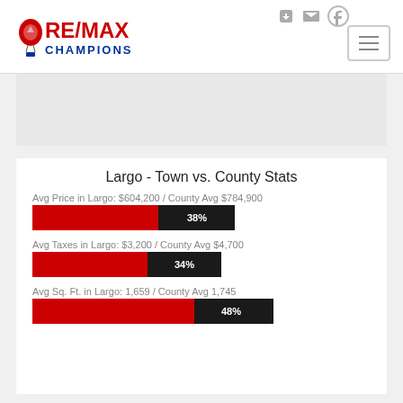[Figure (logo): RE/MAX Champions logo with red and blue text and hot air balloon icon]
Largo - Town vs. County Stats
Avg Price in Largo: $604,200 / County Avg $784,900
[Figure (bar-chart): Avg Price]
Avg Taxes in Largo: $3,200 / County Avg $4,700
[Figure (bar-chart): Avg Taxes]
Avg Sq. Ft. in Largo: 1,659 / County Avg 1,745
[Figure (bar-chart): Avg Sq. Ft.]